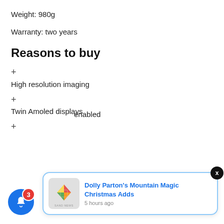Weight: 980g
Warranty: two years
Reasons to buy
+ High resolution imaging
+ Twin Amoled displays
+ [Wi-Fi enabled] (partially visible)
[Figure (screenshot): News notification popup showing 'Dolly Parton's Mountain Magic Christmas Adds' from 5 hours ago, with a colorful logo thumbnail and close button]
[Figure (screenshot): Blue notification bell icon with red badge showing count 3]